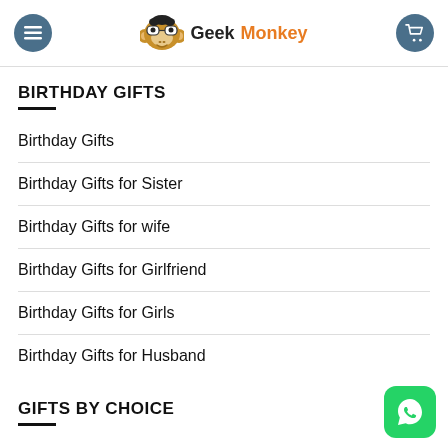Geek Monkey
BIRTHDAY GIFTS
Birthday Gifts
Birthday Gifts for Sister
Birthday Gifts for wife
Birthday Gifts for Girlfriend
Birthday Gifts for Girls
Birthday Gifts for Husband
GIFTS BY CHOICE
Cool stuff online